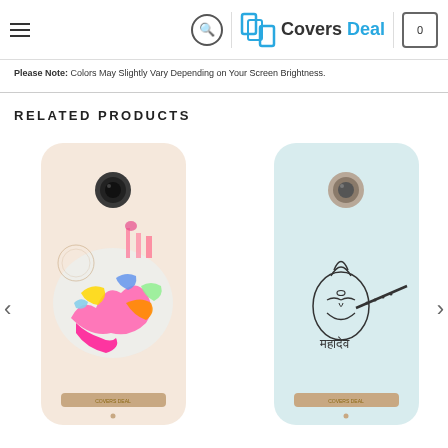Covers Deal website header with menu, search, logo and cart
Please Note: Colors May Slightly Vary Depending on Your Screen Brightness.
RELATED PRODUCTS
[Figure (photo): Phone case product image - colorful world map design on Motorola phone case]
[Figure (photo): Phone case product image - Shiva playing flute illustration on light blue Motorola phone case]